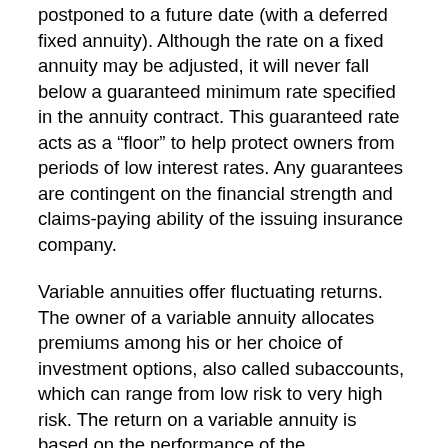postponed to a future date (with a deferred fixed annuity). Although the rate on a fixed annuity may be adjusted, it will never fall below a guaranteed minimum rate specified in the annuity contract. This guaranteed rate acts as a “floor” to help protect owners from periods of low interest rates. Any guarantees are contingent on the financial strength and claims-paying ability of the issuing insurance company.
Variable annuities offer fluctuating returns. The owner of a variable annuity allocates premiums among his or her choice of investment options, also called subaccounts, which can range from low risk to very high risk. The return on a variable annuity is based on the performance of the subaccounts that are selected. Any guarantees are contingent on the financial strength and claims-paying ability of the issuing insurance company. The investment return and principal value of an investment option are not guaranteed. Variable annuity subaccounts fluctuate with changes in market conditions. When a variable annuity is surrendered, the principal may be worth more or less than